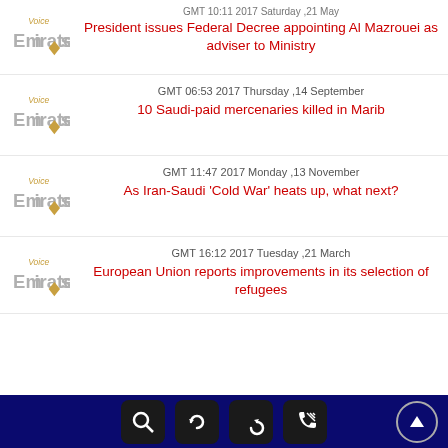President issues Federal Decree appointing Al Mazrouei as adviser to Ministry
GMT 06:53 2017 Thursday ,14 September
10 Saudi-paid mercenaries killed in Marib
GMT 11:47 2017 Monday ,13 November
As Iran-Saudi 'Cold War' heats up, what next?
GMT 16:12 2017 Tuesday ,21 March
European Union reports improvements in its selection of refugees